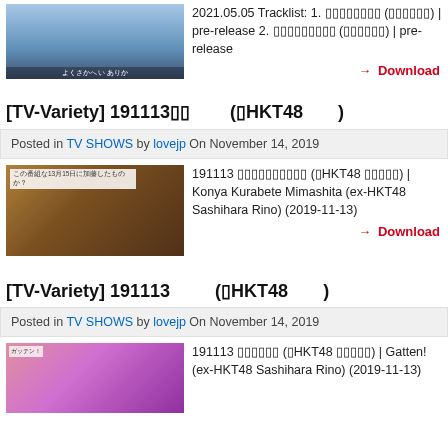[Figure (photo): Group of girls in blue outfits performing outdoors]
2021.05.05 Tracklist: 1. [Japanese] ([Japanese]) | pre-release 2. [Japanese] ([Japanese]) | pre-release
→ Download
[TV-Variety] 191113 [Japanese] ([HKT48 [Japanese]])
Posted in TV SHOWS by lovejp On November 14, 2019
[Figure (photo): TV variety show screenshot with people standing in studio]
191113 [Japanese] ([HKT48 [Japanese]]) | Konya Kurabete Mimashita (ex-HKT48 Sashihara Rino) (2019-11-13)
→ Download
[TV-Variety] 191113 [Japanese] ([HKT48 [Japanese]])
Posted in TV SHOWS by lovejp On November 14, 2019
[Figure (photo): Colorful TV show thumbnail with female presenter]
191113 [Japanese] ([HKT48 [Japanese]]) | Gatten! (ex-HKT48 Sashihara Rino) (2019-11-13)